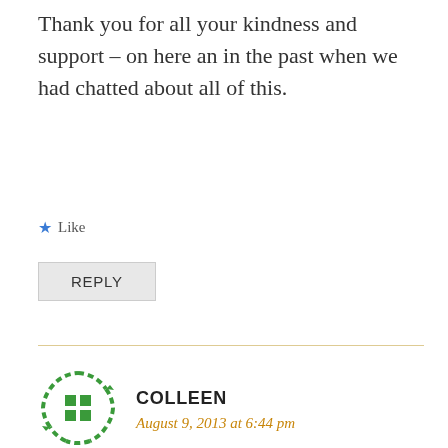Thank you for all your kindness and support – on here an in the past when we had chatted about all of this.
★ Like
REPLY
COLLEEN
August 9, 2013 at 6:44 pm
Yup, it sucks. He will be fine. In fact, he'll be great.
Hugs…